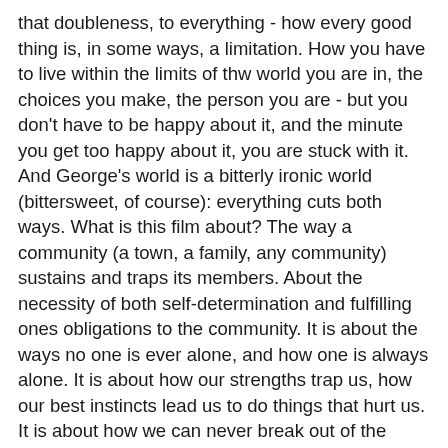that doubleness, to everything - how every good thing is, in some ways, a limitation. How you have to live within the limits of thw world you are in, the choices you make, the person you are - but you don't have to be happy about it, and the minute you get too happy about it, you are stuck with it. And George's world is a bitterly ironic world (bittersweet, of course): everything cuts both ways. What is this film about? The way a community (a town, a family, any community) sustains and traps its members. About the necessity of both self-determination and fulfilling ones obligations to the community. It is about the ways no one is ever alone, and how one is always alone. It is about how our strengths trap us, how our best instincts lead us to do things that hurt us. It is about how we can never break out of the systems we live in, and how we can never simply accept those systems. About the necessity of constant self-invention. It's a film about contradictions, that can't be resolved. Yes - the ending fudges the issue a bit, but not enough to obscure it: anything George did, assuming he was as decent about it as he is in the film, would have made something in the world a better place and something else would have suffered. To be true to himself he would have to sacrifice something of himself - that